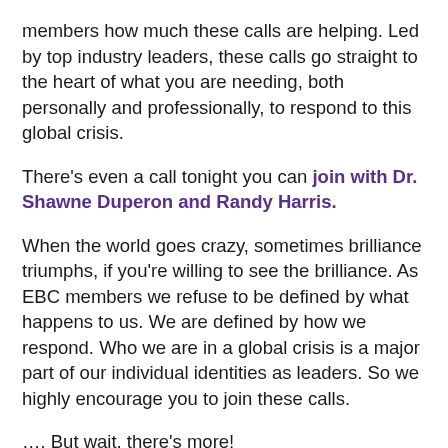members how much these calls are helping. Led by top industry leaders, these calls go straight to the heart of what you are needing, both personally and professionally, to respond to this global crisis.
There's even a call tonight you can join with Dr. Shawne Duperon and Randy Harris.
When the world goes crazy, sometimes brilliance triumphs, if you're willing to see the brilliance. As EBC members we refuse to be defined by what happens to us. We are defined by how we respond. Who we are in a global crisis is a major part of our individual identities as leaders. So we highly encourage you to join these calls.
…. But wait, there's more!
As part of our commitment to our industry, we are making these calls complimentary to guests. So as part of our industry leadership, we encourage you to